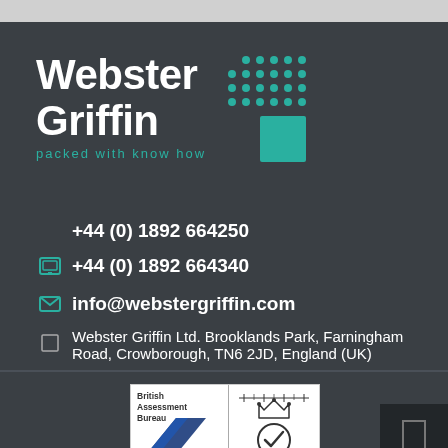[Figure (logo): Webster Griffin company logo with teal dot-grid and square icon, white text on dark background, tagline 'packed with know how']
+44 (0) 1892 664250
+44 (0) 1892 664340
info@webstergriffin.com
Webster Griffin Ltd. Brooklands Park, Farningham Road, Crowborough, TN6 2JD, England (UK)
[Figure (logo): British Assessment Bureau and UKAS certification badge]